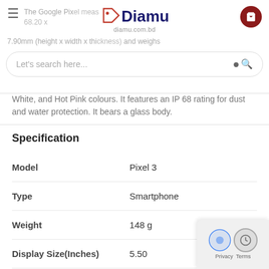Diamu - diamu.com.bd
The Google Pixel 3 measures 145.6 x 68.20 x 7.90mm (height x width x thickness) and weighs
White, and Hot Pink colours. It features an IP 68 rating for dust and water protection. It bears a glass body.
Specification
| Attribute | Value |
| --- | --- |
| Model | Pixel 3 |
| Type | Smartphone |
| Weight | 148 g |
| Display Size(Inches) | 5.50 |
| Resolution | 1080 x 2160 pixels |